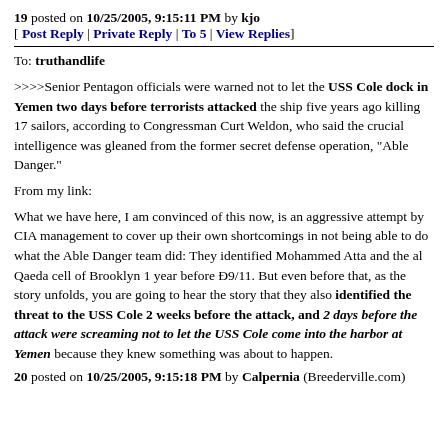19 posted on 10/25/2005, 9:15:11 PM by kjo
[ Post Reply | Private Reply | To 5 | View Replies]
To: truthandlife
>>>>Senior Pentagon officials were warned not to let the USS Cole dock in Yemen two days before terrorists attacked the ship five years ago killing 17 sailors, according to Congressman Curt Weldon, who said the crucial intelligence was gleaned from the former secret defense operation, "Able Danger."
From my link:
What we have here, I am convinced of this now, is an aggressive attempt by CIA management to cover up their own shortcomings in not being able to do what the Able Danger team did: They identified Mohammed Atta and the al Qaeda cell of Brooklyn 1 year before Đ9/11. But even before that, as the story unfolds, you are going to hear the story that they also identified the threat to the USS Cole 2 weeks before the attack, and 2 days before the attack were screaming not to let the USS Cole come into the harbor at Yemen because they knew something was about to happen.
20 posted on 10/25/2005, 9:15:18 PM by Calpernia (Breederville.com)